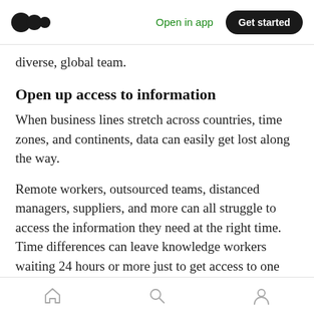Medium — Open in app | Get started
diverse, global team.
Open up access to information
When business lines stretch across countries, time zones, and continents, data can easily get lost along the way.
Remote workers, outsourced teams, distanced managers, suppliers, and more can all struggle to access the information they need at the right time. Time differences can leave knowledge workers waiting 24 hours or more just to get access to one file.
Home | Search | Profile